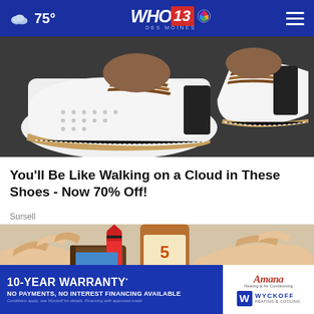75° | WHO 13 DES MOINES NBC
[Figure (photo): Close-up photo of white slip-on shoes with brown stripe accents and perforated toe box, on dark surface]
You'll Be Like Walking on a Cloud in These Shoes - Now 70% Off!
Sursell
[Figure (photo): Close-up photo of hands holding a brown wallet with a Crayola crayon inserted, near a bottle]
[Figure (infographic): Advertisement banner: 10-YEAR WARRANTY* NO PAYMENTS, NO INTEREST FINANCING AVAILABLE. Conditions apply, see Wyckoff for details. Financing with approved credit. Amana Heating & Air Conditioning. Wyckoff Heating & Cooling.]